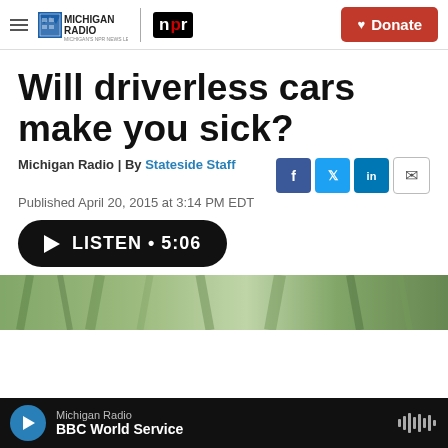Michigan Radio | NPR | Donate
Will driverless cars make you sick?
Michigan Radio | By Stateside Staff
Published April 20, 2015 at 3:14 PM EDT
LISTEN • 5:06
[Figure (photo): Green blurred foliage/pine trees photo]
Michigan Radio | BBC World Service